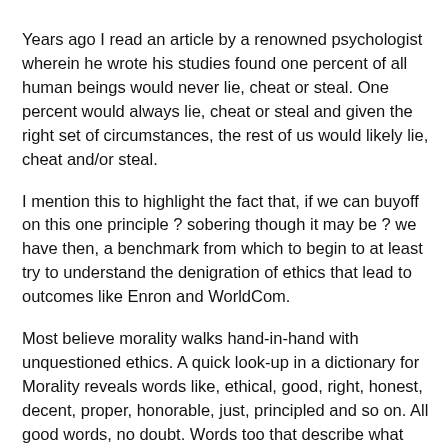Years ago I read an article by a renowned psychologist wherein he wrote his studies found one percent of all human beings would never lie, cheat or steal. One percent would always lie, cheat or steal and given the right set of circumstances, the rest of us would likely lie, cheat and/or steal.
I mention this to highlight the fact that, if we can buyoff on this one principle ? sobering though it may be ? we have then, a benchmark from which to begin to at least try to understand the denigration of ethics that lead to outcomes like Enron and WorldCom.
Most believe morality walks hand-in-hand with unquestioned ethics. A quick look-up in a dictionary for Morality reveals words like, ethical, good, right, honest, decent, proper, honorable, just, principled and so on. All good words, no doubt. Words too that describe what most of us ? including Enron Exec's - see in